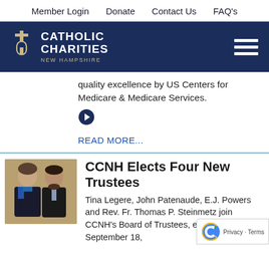Member Login   Donate   Contact Us   FAQ's
[Figure (logo): Catholic Charities New Hampshire logo with cross icon on dark navy background, with hamburger menu icon on right]
quality excellence by US Centers for Medicare & Medicare Services.
READ MORE...
[Figure (photo): Two people in professional attire - a woman with short hair and a man with a beard, both in dark suits]
CCNH Elects Four New Trustees
Tina Legere, John Patenaude, E.J. Powers and Rev. Fr. Thomas P. Steinmetz join CCNH's Board of Trustees, effective September 18,